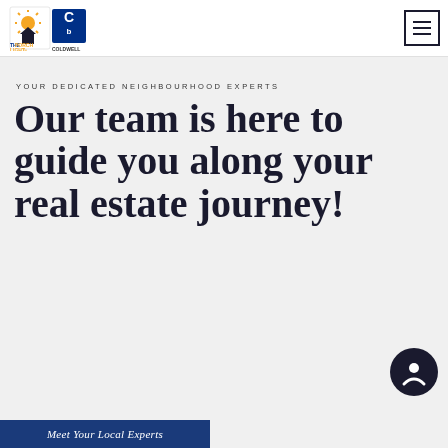THE PORCH LIGHT | COLDWELL BANKER REALTY
YOUR DEDICATED NEIGHBOURHOOD EXPERTS
Our team is here to guide you along your real estate journey!
[Figure (logo): Chat/message button icon, dark navy circle]
Meet Your Local Experts